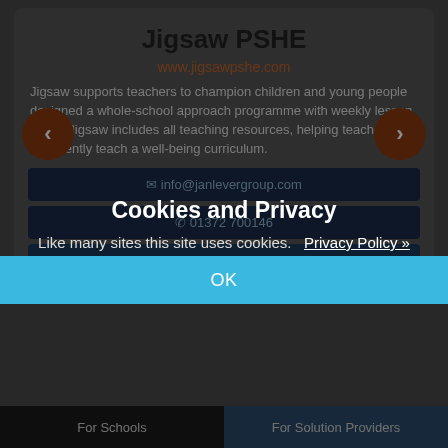Jigsaw PSHE
www.jigsawpshe.com
Jigsaw supports teachers to champion children and young people designed a whole-school approach programme with weekly lesson plans. Jigsaw includes all teaching resources, helping teachers confidently teach a well-being curriculum.
info@janlevergroup.com
01372 700146
Solutions
Cookies and Privacy
Like many sites this site uses cookies.    Privacy Policy »
OK
For Schools    For Solution Providers